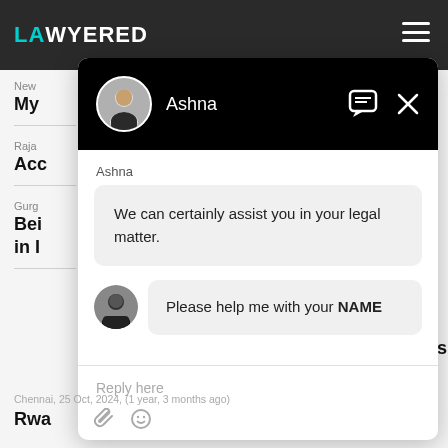[Figure (screenshot): Screenshot of a legal services website (Lawyered) with a chat overlay. The chat modal shows agent 'Ashna' with profile photo, a message bubble saying 'We can certainly assist you in your legal matter.', and a user response prompt 'Please help me with your NAME'. A reply input field shows 'Reply here' placeholder with attachment and emoji icons.]
Ashna
We can certainly assist you in your legal matter.
Please help me with your NAME
Reply here